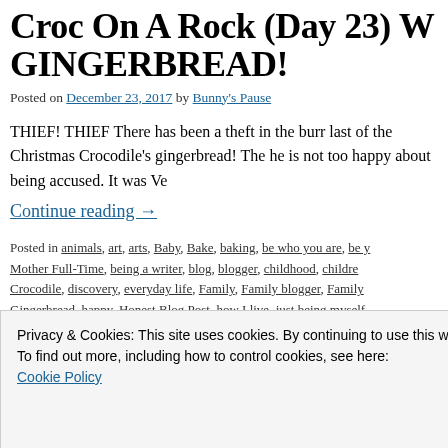Croc On A Rock (Day 23) W… GINGERBREAD!
Posted on December 23, 2017 by Bunny's Pause
THIEF! THIEF There has been a theft in the burr… last of the Christmas Crocodile's gingerbread! The… he is not too happy about being accused. It was Ve…
Continue reading →
Posted in animals, art, arts, Baby, Bake, baking, be who you are, be y… Mother Full-Time, being a writer, blog, blogger, childhood, childre… Crocodile, discovery, everyday life, Family, Family blogger, Family… Gingerbread, happy, Honest Blog Post, how I live, just being myself…
Privacy & Cookies: This site uses cookies. By continuing to use this website, you agree to their use.
To find out more, including how to control cookies, see here: Cookie Policy
Close and accept
stolen, thief, this is my life, this thing called life, Venom, writer…